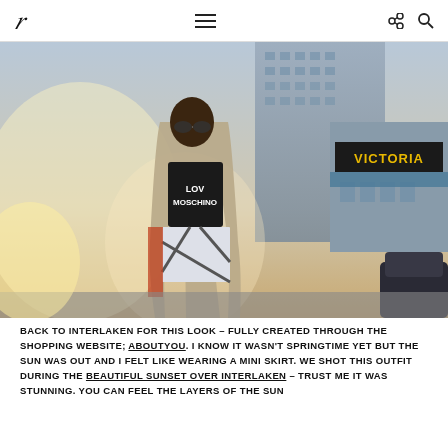F [logo] ≡ [menu] share search
[Figure (photo): Street style photo of a woman wearing a long beige coat over a Love Moschino black sweatshirt and a mini skirt with graphic print, standing on a city street in Interlaken with a building and Victoria sign visible in the background.]
BACK TO INTERLAKEN FOR THIS LOOK – FULLY CREATED THROUGH THE SHOPPING WEBSITE; ABOUTYOU. I KNOW IT WASN'T SPRINGTIME YET BUT THE SUN WAS OUT AND I FELT LIKE WEARING A MINI SKIRT. WE SHOT THIS OUTFIT DURING THE BEAUTIFUL SUNSET OVER INTERLAKEN – TRUST ME IT WAS STUNNING. YOU CAN FEEL THE LAYERS OF THE SUN